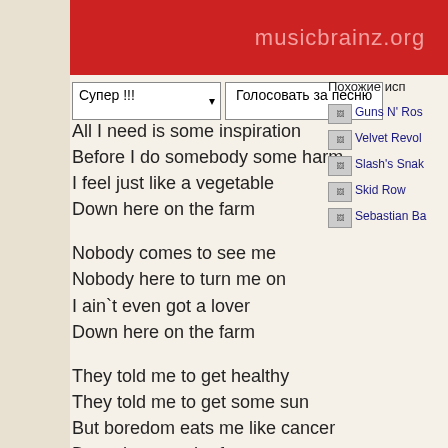musicbrainz.org
Супер !!! ▾   Голосовать за песню
All I need is some inspiration
Before I do somebody some harm
I feel just like a vegetable
Down here on the farm
Nobody comes to see me
Nobody here to turn me on
I ain`t even got a lover
Down here on the farm
They told me to get healthy
They told me to get some sun
But boredom eats me like cancer
Down here on the farm
Drinking lemonade shanty
Ain`t nobody here to do me harm
But I`m like a fish out of water
Похожие исп
Фото Guns N' Ros
Велvet Revol
Фото Slas
Slash's Snak
Фото Skid
Skid Row
Фото Seb
Sebastian Ba